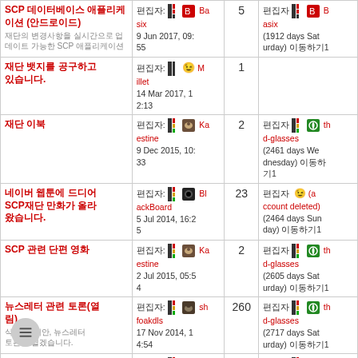| 제목 | 편집자 | 수 | 마지막 |
| --- | --- | --- | --- |
| SCP 데이터베이스 애플리케이션 (안드로이드) | 편집자: Basix
9 Jun 2017, 09:55 | 5 | 편집자 Basix (1912 days Saturday) 이동하기1 |
| 재단 뱃지를 공구하고 있습니다. | 편집자: Millet
14 Mar 2017, 12:13 | 1 |  |
| 재단 이북 | 편집자: Kaestine
9 Dec 2015, 10:33 | 2 | 편집자 thd-glasses (2461 days Wednesday) 이동하기1 |
| 네이버 웹툰에 드디어 SCP재단 만화가 올라왔습니다. | 편집자: BlackBoard
5 Jul 2014, 16:25 | 23 | 편집자 ;-) (account deleted) (2464 days Sunday) 이동하기1 |
| SCP 관련 단편 영화 | 편집자: Kaestine
2 Jul 2015, 05:54 | 2 | 편집자 thd-glasses (2605 days Saturday) 이동하기1 |
| 뉴스레터 관련 토론(열림) | 편집자: shfoakdls
17 Nov 2014, 14:54 | 260 | 편집자 thd-glasses (2717 days Saturday) 이동하기1 |
|  | 편집자: sh... |  | 편집자 th... |